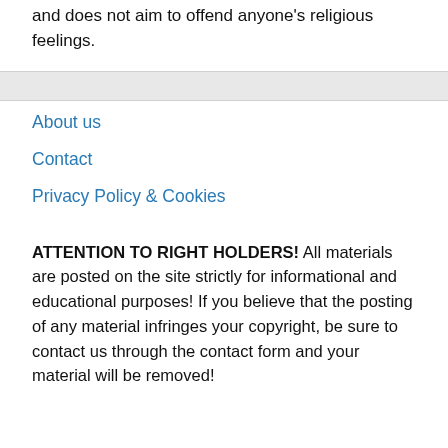and does not aim to offend anyone's religious feelings.
About us
Contact
Privacy Policy & Cookies
ATTENTION TO RIGHT HOLDERS! All materials are posted on the site strictly for informational and educational purposes! If you believe that the posting of any material infringes your copyright, be sure to contact us through the contact form and your material will be removed!